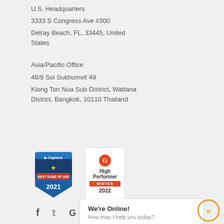U.S. Headquarters
3333 S Congress Ave #300
Delray Beach, FL, 33445, United States
Asia/Pacific Office
46/9 Soi Sukhumvit 49
Klong Ton Nua Sub-District, Wattana District, Bangkok, 10110 Thailand
[Figure (logo): Capterra Best Ease of Use 2021 badge]
[Figure (logo): G2 High Performer Winter 2022 badge]
[Figure (illustration): Social media icons: Facebook, Twitter, Google, YouTube, LinkedIn]
We're Online! How may I help you today?